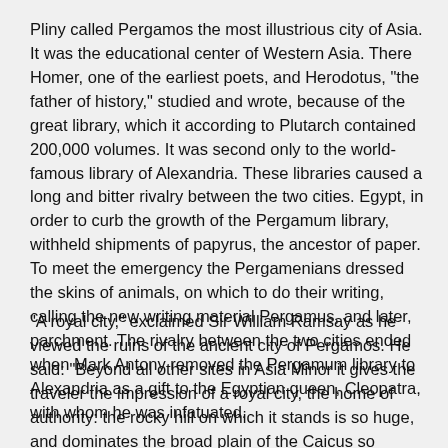Pliny called Pergamos the most illustrious city of Asia. It was the educational center of Western Asia. There Homer, one of the earliest poets, and Herodotus, "the father of history," studied and wrote, because of the great library, which it according to Plutarch contained 200,000 volumes. It was second only to the world-famous library of Alexandria. These libraries caused a long and bitter rivalry between the two cities. Egypt, in order to curb the growth of the Pergamum library, withheld shipments of papyrus, the ancestor of paper. To meet the emergency the Pergamenians dressed the skins of animals, on which to do their writing, calling the new writing material Pergamus, and later, parchment. The rivalry between the two cities ended when Mark Antony removed the Pergamum library to Alexandria as a gift to the Egyptian queen, Cleopatra, with whom he was infatuated.
"A royal city," exclaimed Sir William Ramsay as he viewed the ruins of the ancient city of Pergamos. He said: "Beyond all other sites in Asia Minor it gives the traveler the impression of a royal city, the home of authority: the rocky hill on which it stands is so huge, and dominates the broad plain of the Caicus so proudly and boldly." (Page 281.) It was indeed "a royal city" and a royal